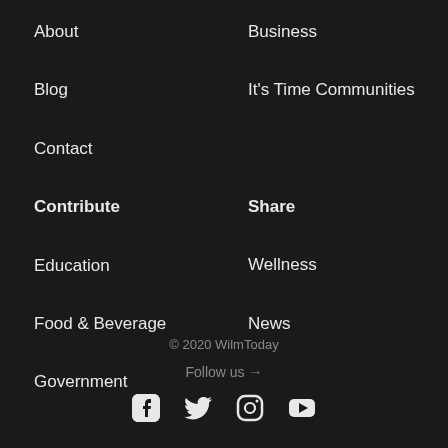About
Business
Blog
It's Time Communities
Contact
Contribute
Share
Education
Wellness
Food & Beverage
News
Government
© 2020 WilmToday
Follow us →
[Figure (other): Social media icons: Facebook, Twitter, Instagram, YouTube]